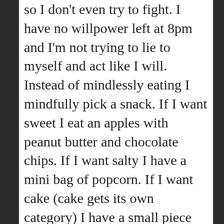so I don't even try to fight. I have no willpower left at 8pm and I'm not trying to lie to myself and act like I will. Instead of mindlessly eating I mindfully pick a snack. If I want sweet I eat an apples with peanut butter and chocolate chips. If I want salty I have a mini bag of popcorn. If I want cake (cake gets its own category) I have a small piece already cut and on a plate ready to go. I usually make it through the 8pm hour, but around 9:15-9:30 is when the craving hits. I take myself downstairs and eat my snack. I would love to tell you I'm too lazy to go downstairs and get the snack, but that would be a lie. The only change I made